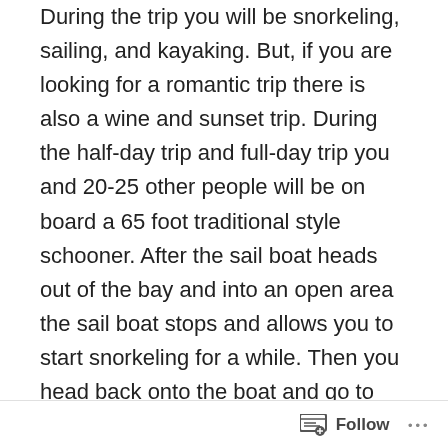During the trip you will be snorkeling, sailing, and kayaking. But, if you are looking for a romantic trip there is also a wine and sunset trip. During the half-day trip and full-day trip you and 20-25 other people will be on board a 65 foot traditional style schooner. After the sail boat heads out of the bay and into an open area the sail boat stops and allows you to start snorkeling for a while. Then you head back onto the boat and go to the mangroves and kayak out there. After that you head back into the bay and end the journey. The difference between the full day trip is that the full day trip you stop and eat lunch at a sandbar. One of the best things about the trips is that they give you snacks and drinks that are included in the price. For the sunset sail trip you head out on the boat and watch the sunset while drinking a variety of wines. The sunset trip is
Follow ···